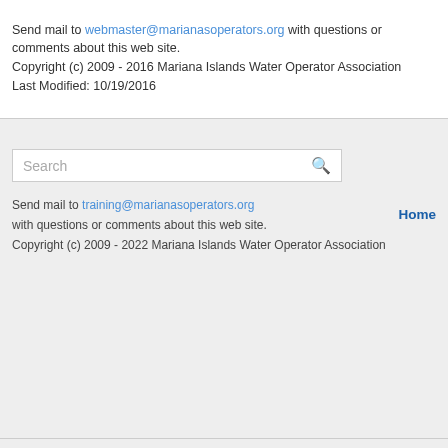Send mail to webmaster@marianasoperators.org with questions or comments about this web site.
Copyright (c) 2009 - 2016 Mariana Islands Water Operator Association
Last Modified: 10/19/2016
Send mail to training@marianasoperators.org
with questions or comments about this web site.
Copyright (c) 2009 - 2022 Mariana Islands Water Operator Association
Home
Version:  Mobile  |  Web